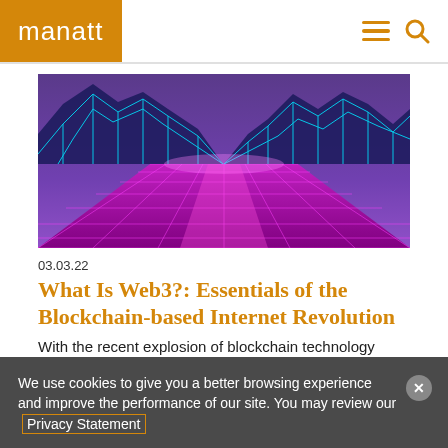manatt
[Figure (illustration): Retro synthwave/cyberpunk landscape with neon cyan wireframe mountains and a glowing magenta/pink grid floor vanishing to horizon, purple sky background]
03.03.22
What Is Web3?: Essentials of the Blockchain-based Internet Revolution
With the recent explosion of blockchain technology
We use cookies to give you a better browsing experience and improve the performance of our site. You may review our Privacy Statement